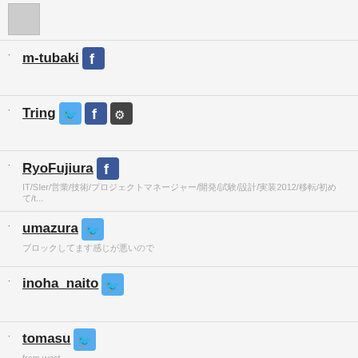[Figure (other): User avatar placeholder image at top]
m-tubaki [Facebook icon]
Tring [Twitter icon] [Facebook icon] [GitHub icon]
RyoFujiura [Facebook icon]
IT/SIer/営業/技術/プロジェクトマネージャー/開発/試験/設計/実装2012/移転/初めて/t...
umazura [Twitter icon]
ブロックしてます感じが悪いので
inoha_naito [Twitter icon]
tomasu [Twitter icon]
from west
siwamot [Twitter icon] [Facebook icon]